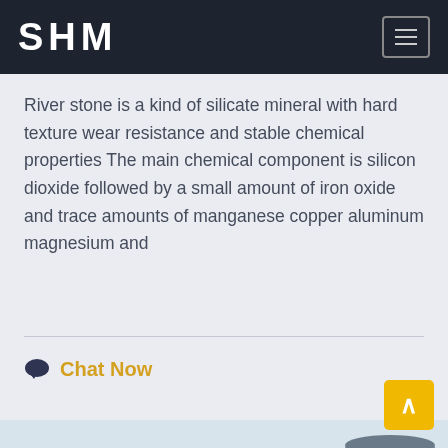SHM
River stone is a kind of silicate mineral with hard texture wear resistance and stable chemical properties The main chemical component is silicon dioxide followed by a small amount of iron oxide and trace amounts of manganese copper aluminum magnesium and
Chat Now
[Figure (photo): Industrial crushing/processing plant equipment with large machinery, conveyor systems, and silos visible against a light sky background.]